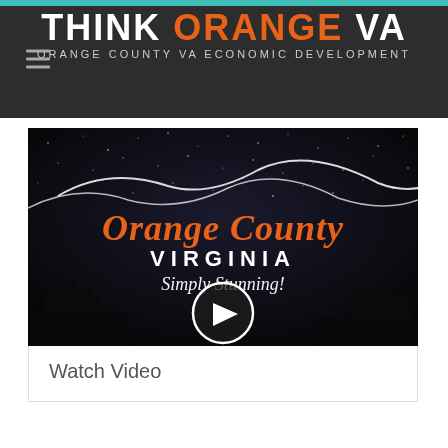THINK ORANGE VA — ORANGE COUNTY VA ECONOMIC DEVELOPMENT
[Figure (screenshot): Video thumbnail for Orange County Virginia 'Simply Stunning!' promotional video, dark night sky background with rolling hills silhouette, orange and white text overlay, white play button circle in center]
Watch Video